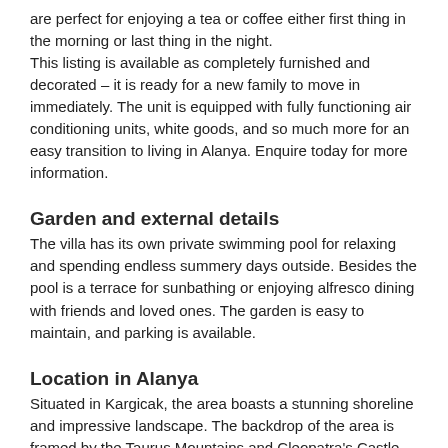are perfect for enjoying a tea or coffee either first thing in the morning or last thing in the night.
This listing is available as completely furnished and decorated – it is ready for a new family to move in immediately. The unit is equipped with fully functioning air conditioning units, white goods, and so much more for an easy transition to living in Alanya. Enquire today for more information.
Garden and external details
The villa has its own private swimming pool for relaxing and spending endless summery days outside. Besides the pool is a terrace for sunbathing or enjoying alfresco dining with friends and loved ones. The garden is easy to maintain, and parking is available.
Location in Alanya
Situated in Kargicak, the area boasts a stunning shoreline and impressive landscape. The backdrop of the area is framed by the Taurus Mountains and Cleopatra's Castle can be seen in the distance. The small centre of Kargicak has a small grocery shop ideal for day to day necessities, local restaurants and bars. The